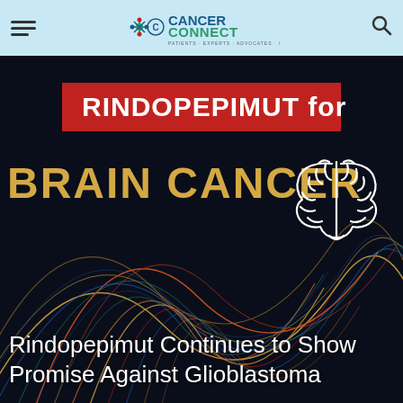CancerConnect — Patients · Experts · Advocates · Community
[Figure (screenshot): CancerConnect website screenshot showing a dark hero banner with the headline 'RINDOPEPIMUT for BRAIN CANCER' overlaid on colorful wavy light lines, a brain icon outline, and the subheading 'Rindopepimut Continues to Show Promise Against Glioblastoma']